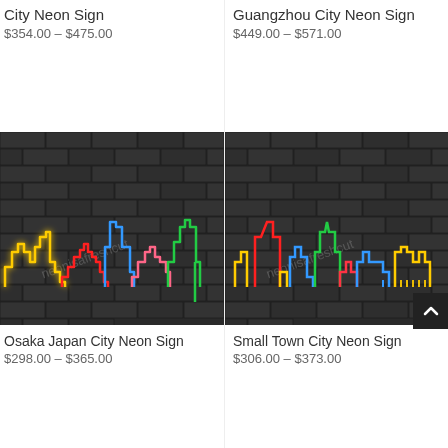City Neon Sign
$354.00 – $475.00
Guangzhou City Neon Sign
$449.00 – $571.00
[Figure (photo): Osaka Japan City Neon Sign displayed on dark brick wall, multicolor neon skyline outline]
[Figure (photo): Small Town City Neon Sign displayed on dark brick wall, multicolor neon skyline outline]
Osaka Japan City Neon Sign
$298.00 – $365.00
Small Town City Neon Sign
$306.00 – $373.00